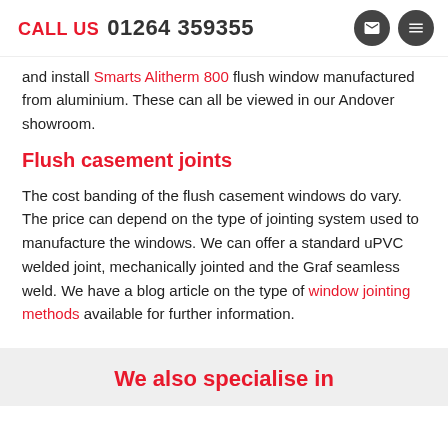CALL US 01264 359355
and install Smarts Alitherm 800 flush window manufactured from aluminium. These can all be viewed in our Andover showroom.
Flush casement joints
The cost banding of the flush casement windows do vary. The price can depend on the type of jointing system used to manufacture the windows. We can offer a standard uPVC welded joint, mechanically jointed and the Graf seamless weld. We have a blog article on the type of window jointing methods available for further information.
We also specialise in